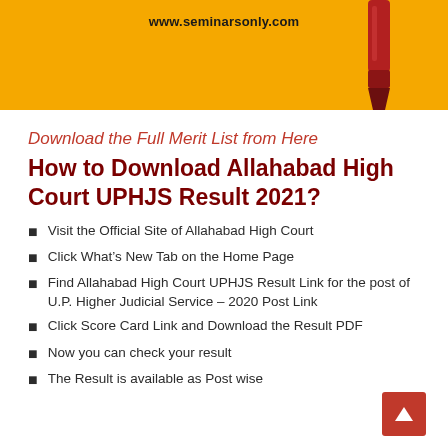[Figure (photo): Yellow background header image with a red marker pen in the top right corner and the URL www.seminarsonly.com in bold text centered at the top]
Download the Full Merit List from Here
How to Download Allahabad High Court UPHJS Result 2021?
Visit the Official Site of Allahabad High Court
Click What's New Tab on the Home Page
Find Allahabad High Court UPHJS Result Link for the post of U.P. Higher Judicial Service – 2020 Post Link
Click Score Card Link and Download the Result PDF
Now you can check your result
The Result is available as Post wise